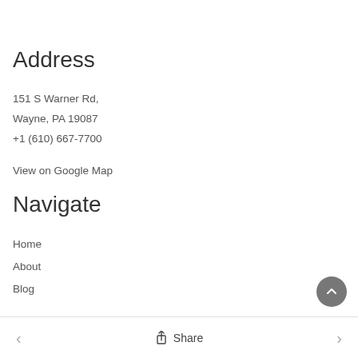Address
151 S Warner Rd,
Wayne, PA 19087
+1 (610) 667-7700
View on Google Map
Navigate
Home
About
Blog
< Share >